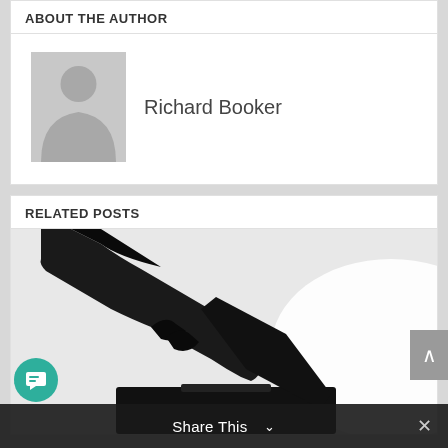ABOUT THE AUTHOR
Richard Booker
[Figure (illustration): Gray placeholder avatar silhouette of a person]
RELATED POSTS
[Figure (photo): Silhouette of a hand inserting a ballot paper into a ballot box, high contrast black and white image]
2
[Figure (illustration): Teal circular chat/message icon button]
Share This ∨
×